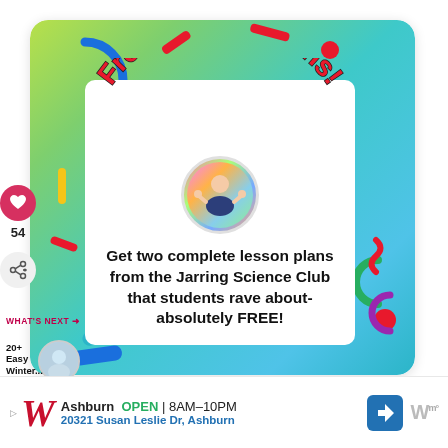[Figure (illustration): Social media post card with colorful gradient border (green, teal, blue) and decorative confetti shapes. Features an arched 'Free Lesson Plans!' text in red bubble letters with a white woman giving thumbs up in a rainbow-gradient circle avatar. Text reads: 'Get two complete lesson plans from the Jarring Science Club that students rave about-absolutely FREE!' with like/share icons on the left side showing 54 likes, and a 'What's Next: 20+ Easy Winter...' section in the bottom left.]
Get two complete lesson plans from the Jarring Science Club that students rave about-absolutely FREE!
54
WHAT'S NEXT → 20+ Easy Winter...
Ashburn  OPEN | 8AM–10PM  20321 Susan Leslie Dr, Ashburn